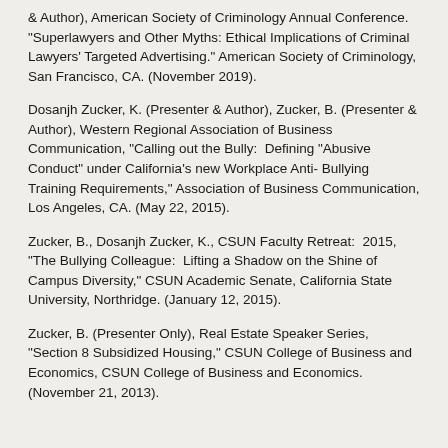& Author), American Society of Criminology Annual Conference.  "Superlawyers and Other Myths: Ethical Implications of Criminal Lawyers' Targeted Advertising." American Society of Criminology, San Francisco, CA. (November 2019).
Dosanjh Zucker, K. (Presenter & Author), Zucker, B. (Presenter & Author), Western Regional Association of Business Communication, "Calling out the Bully:  Defining "Abusive Conduct" under California's new Workplace Anti- Bullying Training Requirements," Association of Business Communication, Los Angeles, CA. (May 22, 2015).
Zucker, B., Dosanjh Zucker, K., CSUN Faculty Retreat:  2015, "The Bullying Colleague:  Lifting a Shadow on the Shine of Campus Diversity," CSUN Academic Senate, California State University, Northridge. (January 12, 2015).
Zucker, B. (Presenter Only), Real Estate Speaker Series, "Section 8 Subsidized Housing," CSUN College of Business and Economics, CSUN College of Business and Economics. (November 21, 2013).